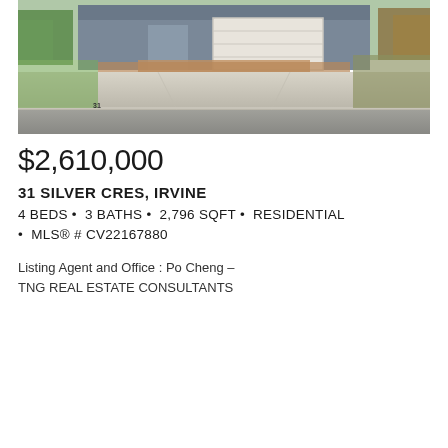[Figure (photo): Exterior photo of a residential home at 31 Silver Cres, Irvine, showing driveway, garage, brick accents, and landscaping]
$2,610,000
31 SILVER CRES, IRVINE
4 BEDS • 3 BATHS • 2,796 SQFT • RESIDENTIAL • MLS® # CV22167880
Listing Agent and Office : Po Cheng – TNG REAL ESTATE CONSULTANTS